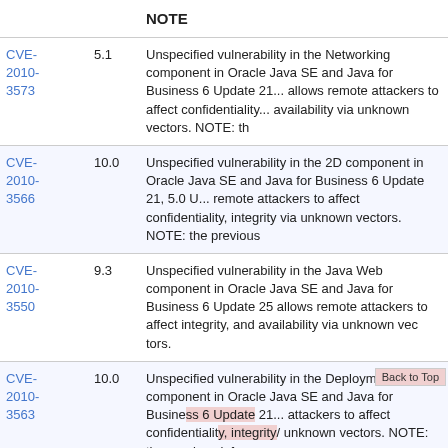| CVE | Score | NOTE |
| --- | --- | --- |
| CVE-2010-3573 | 5.1 | Unspecified vulnerability in the Networking component in Oracle Java SE and Java for Business 6 Update 21... allows remote attackers to affect confidentiality... availability via unknown vectors. NOTE: t... |
| CVE-2010-3566 | 10.0 | Unspecified vulnerability in the 2D component... and Java for Business 6 Update 21, 5.0 U... remote attackers to affect confidentiality, i... via unknown vectors. NOTE: the previous... |
| CVE-2010-3550 | 9.3 | Unspecified vulnerability in the Java Web... Oracle Java SE and Java for Business 6 U... Update 25 allows remote attackers to affe... integrity, and availability via unknown vec... |
| CVE-2010-3563 | 10.0 | Unspecified vulnerability in the Deployment... Java SE and Java for Business 6 Update... attackers to affect confidentiality, integrity... unknown vectors. NOTE: the previous inf... |